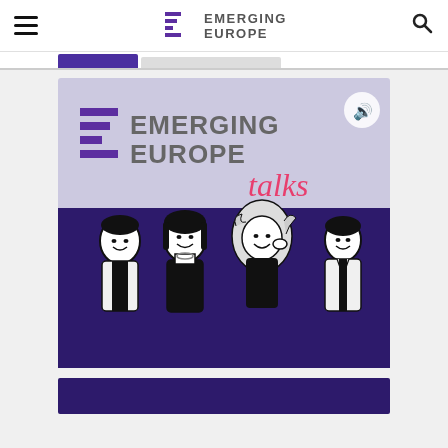Emerging Europe - website header with hamburger menu, logo, and search icon
[Figure (screenshot): Emerging Europe Talks podcast cover image. Top half has light purple/lavender background with the Emerging Europe logo (geometric E shape in purple and grey text) and the word 'talks' in pink cursive script. A speaker/audio icon button is in the top right corner. Bottom half has deep purple background with four illustrated cartoon characters: a young man, a young woman with dark hair, a woman with curly blonde hair, and a man in a jacket.]
[Figure (screenshot): Partial view of another purple-background podcast or content card at the bottom of the page, partially cropped.]